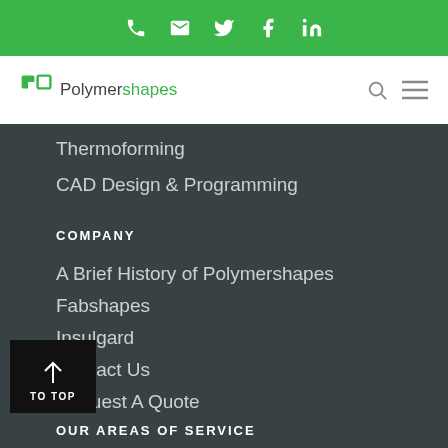Phone | Email | Twitter | Facebook | LinkedIn
[Figure (logo): Polymershapes logo with green icon and text]
Thermoforming
CAD Design & Programming
COMPANY
A Brief History of Polymershapes
Fabshapes
Insulgard
Contact Us
Request A Quote
OUR AREAS OF SERVICE